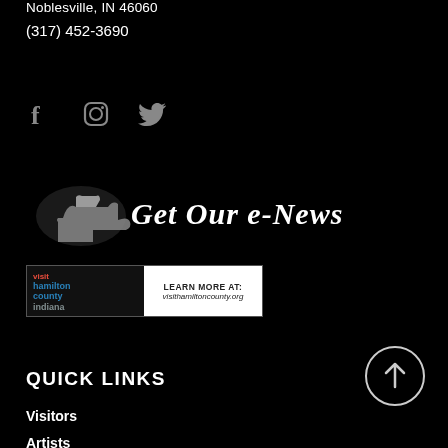Noblesville, IN 46060
(317) 452-3690
[Figure (other): Social media icons: Facebook, Instagram, Twitter in white on black background]
[Figure (other): Get Our e-News banner with pointing hand icon and script text]
[Figure (other): Visit Hamilton County Indiana advertisement banner with red location pin and text LEARN MORE AT: visithamiltoncounty.org]
[Figure (other): Scroll to top circular button with upward arrow]
QUICK LINKS
Visitors
Artists